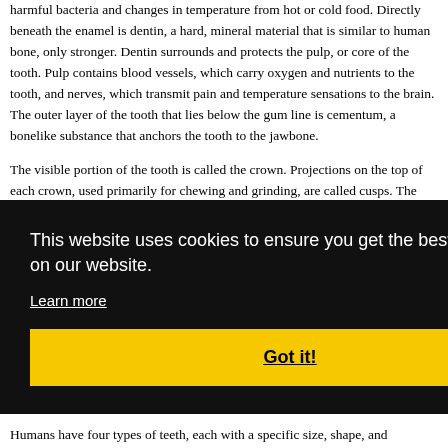harmful bacteria and changes in temperature from hot or cold food. Directly beneath the enamel is dentin, a hard, mineral material that is similar to human bone, only stronger. Dentin surrounds and protects the pulp, or core of the tooth. Pulp contains blood vessels, which carry oxygen and nutrients to the tooth, and nerves, which transmit pain and temperature sensations to the brain. The outer layer of the tooth that lies below the gum line is cementum, a bonelike substance that anchors the tooth to the jawbone.
The visible portion of the tooth is called the crown. Projections on the top of each crown, used primarily for chewing and grinding, are called cusps. The portion of the tooth that lies beneath the gum line is the root. The periodontal ligament anchors the tooth in place with small elastic fibers that connect the cementum in the root to a special socket in the jawbone called the alveolus.
[Figure (screenshot): Cookie consent overlay banner with dark background reading 'This website uses cookies to ensure you get the best experience on our website.' with a Learn more link and a yellow 'Got it!' button.]
Humans have four types of teeth, each with a specific size, shape, and